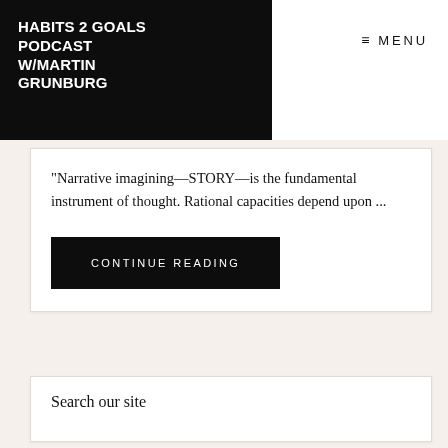HABITS 2 GOALS PODCAST W/MARTIN GRUNBURG
MENU
"Narrative imagining—STORY—is the fundamental instrument of thought. Rational capacities depend upon ...
CONTINUE READING
Search our site